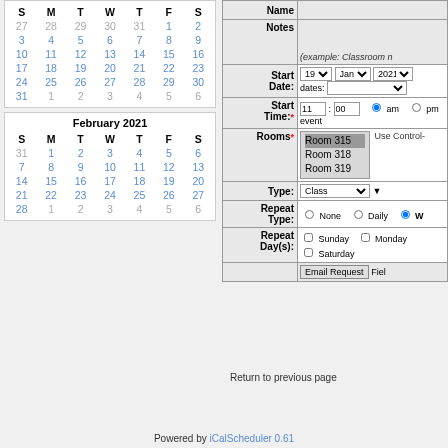[Figure (screenshot): January 2021 calendar (top, partially visible) showing days 27-31 and dates 1-31 with Sunday-Saturday columns]
[Figure (screenshot): February 2021 calendar showing full month with Sunday-Saturday columns, dates 1-28]
| Field | Value |
| --- | --- |
| Name |  |
| Notes | (example: Classroom n…) |
| Start Date: | 19 ▼  Jan ▼  2021 ▼  dates: ▼ |
| Start Time:* | 11 : 00  ● am  ○ pm  event |
| Rooms* | Room 315 (selected), Room 318, Room 319  Use Control-… |
| Type: | Class ▼ |
| Repeat Type: | ○ None  ○ Daily  ● W… |
| Repeat Day(s): | □ Sunday  □ Monday  □ Saturday |
Return to previous page
Powered by iCalScheduler 0.61